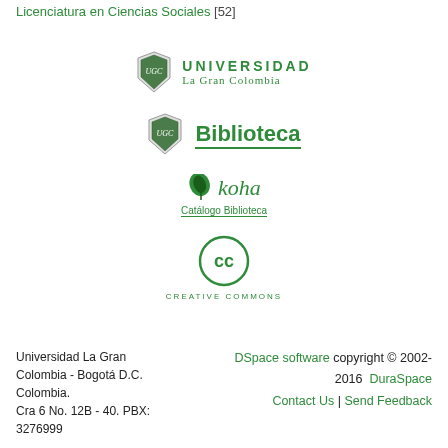Licenciatura en Ciencias Sociales [52]
[Figure (logo): Universidad La Gran Colombia shield logo with text UNIVERSIDAD La Gran Colombia in green]
[Figure (logo): Universidad La Gran Colombia shield logo with text Biblioteca in bold green]
[Figure (logo): koha Catálogo Biblioteca logo in green with leaf icon]
[Figure (logo): Creative Commons CC circle logo with text CREATIVE COMMONS in green]
Universidad La Gran Colombia - Bogotá D.C. Colombia.
Cra 6 No. 12B - 40. PBX: 3276999
DSpace software copyright © 2002-2016  DuraSpace  Contact Us | Send Feedback